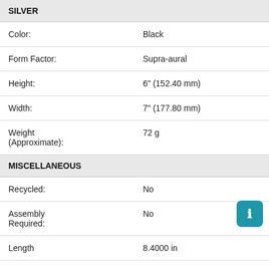| Attribute | Value |
| --- | --- |
| Color: | Black |
| Form Factor: | Supra-aural |
| Height: | 6" (152.40 mm) |
| Width: | 7" (177.80 mm) |
| Weight (Approximate): | 72 g |
| MISCELLANEOUS |  |
| Recycled: | No |
| Assembly Required: | No |
| Length | 8.4000 in |